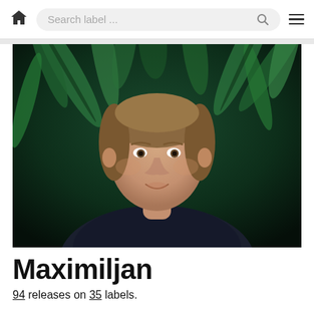Search label ...
[Figure (photo): Portrait photo of Maximiljan, a man with medium-length brown hair wearing a dark navy t-shirt, standing in front of lush green tropical foliage/palm leaves in a dark outdoor setting.]
Maximiljan
94 releases on 35 labels.